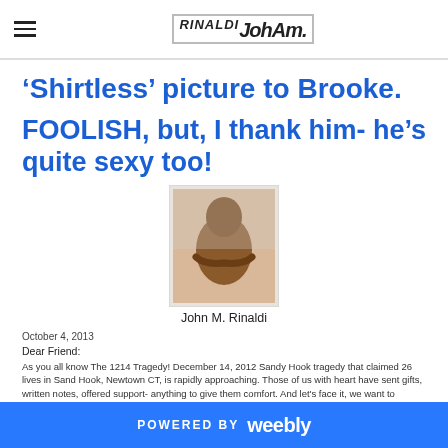JohnRinaldi logo with hamburger menu
'Shirtless' picture to Brooke.
FOOLISH, but, I thank him- he's quite sexy too!
[Figure (photo): Shirtless photo of John M. Rinaldi]
John M. Rinaldi
October 4, 2013
Dear Friend:
As you all know The 1214 Tragedy! December 14, 2012 Sandy Hook tragedy that claimed 26 lives in Sand Hook, Newtown CT, is rapidly approaching. Those of us with heart have sent gifts, written notes, offered support- anything to give them comfort. And let's face it, we want to somehow also comfort us. Our world - the landscape of our lives has been forever changed- damaged, and shattered for some....
POWERED BY weebly